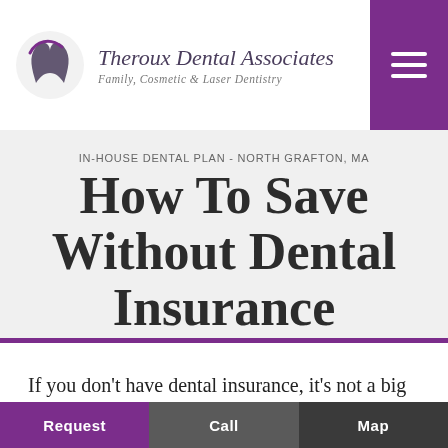Theroux Dental Associates - Family, Cosmetic & Laser Dentistry
IN-HOUSE DENTAL PLAN - NORTH GRAFTON, MA
How To Save Without Dental Insurance
If you don't have dental insurance, it's not a big deal here at Theroux Dental Associates.
Request  Call  Map